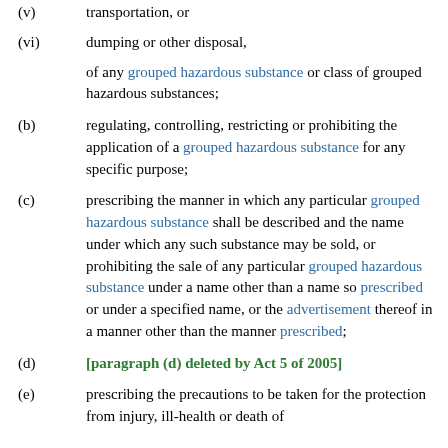(v) transportation, or
(vi) dumping or other disposal,
of any grouped hazardous substance or class of grouped hazardous substances;
(b) regulating, controlling, restricting or prohibiting the application of a grouped hazardous substance for any specific purpose;
(c) prescribing the manner in which any particular grouped hazardous substance shall be described and the name under which any such substance may be sold, or prohibiting the sale of any particular grouped hazardous substance under a name other than a name so prescribed or under a specified name, or the advertisement thereof in a manner other than the manner prescribed;
(d) [paragraph (d) deleted by Act 5 of 2005]
(e) prescribing the precautions to be taken for the protection from injury, ill-health or death of